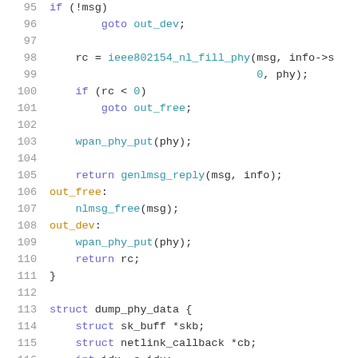[Figure (screenshot): Source code snippet in C showing lines 95-116 with syntax highlighting. Line numbers in grey on left, keywords in purple/blue, function calls and values in teal/cyan, label identifiers in gold/orange.]